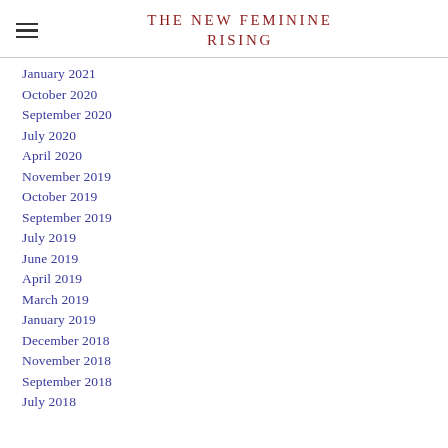THE NEW FEMININE RISING
January 2021
October 2020
September 2020
July 2020
April 2020
November 2019
October 2019
September 2019
July 2019
June 2019
April 2019
March 2019
January 2019
December 2018
November 2018
September 2018
July 2018